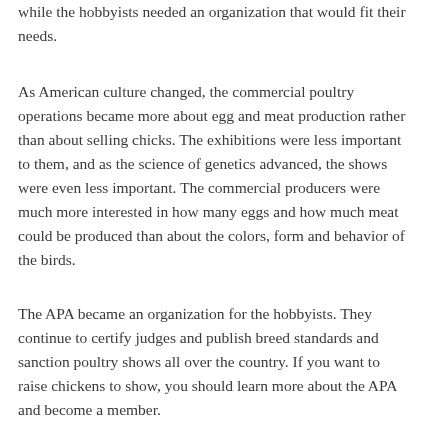while the hobbyists needed an organization that would fit their needs.
As American culture changed, the commercial poultry operations became more about egg and meat production rather than about selling chicks. The exhibitions were less important to them, and as the science of genetics advanced, the shows were even less important. The commercial producers were much more interested in how many eggs and how much meat could be produced than about the colors, form and behavior of the birds.
The APA became an organization for the hobbyists. They continue to certify judges and publish breed standards and sanction poultry shows all over the country. If you want to raise chickens to show, you should learn more about the APA and become a member.